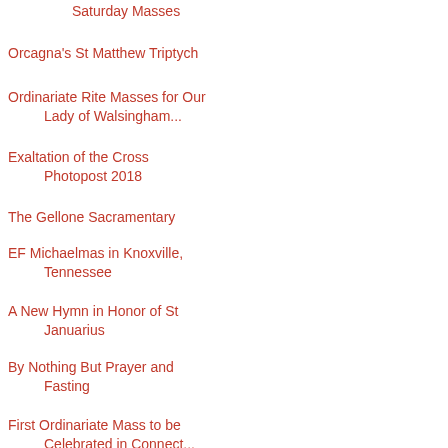Saturday Masses
Orcagna's St Matthew Triptych
Ordinariate Rite Masses for Our Lady of Walsingham...
Exaltation of the Cross Photopost 2018
The Gellone Sacramentary
EF Michaelmas in Knoxville, Tennessee
A New Hymn in Honor of St Januarius
By Nothing But Prayer and Fasting
First Ordinariate Mass to be Celebrated in Connect...
Faith and Freedom: the Antidotes to the Plastic Cu...
The Stigmata of Saint Francis,